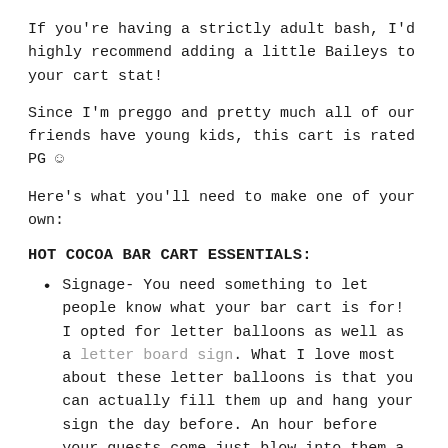If you're having a strictly adult bash, I'd highly recommend adding a little Baileys to your cart stat!
Since I'm preggo and pretty much all of our friends have young kids, this cart is rated PG ☺
Here's what you'll need to make one of your own:
HOT COCOA BAR CART ESSENTIALS:
Signage- You need something to let people know what your bar cart is for! I opted for letter balloons as well as a letter board sign. What I love most about these letter balloons is that you can actually fill them up and hang your sign the day before. An hour before your guests come just blow into them a touch more to fill up whatever air was lost over night. Saves you so